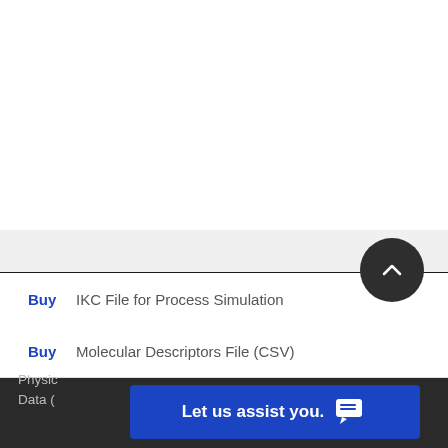Buy   IKC File for Process Simulation
Buy   Molecular Descriptors File (CSV)
[Figure (screenshot): Dark footer area with partial text 'Physical... Data (...)']
Let us assist you.